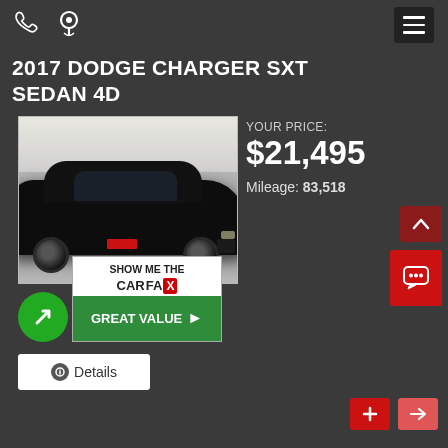Navigation bar with phone icon, location icon, and hamburger menu
2017 DODGE CHARGER SXT SEDAN 4D
[Figure (photo): Black 2017 Dodge Charger SXT Sedan 4D parked indoors on a light floor]
YOUR PRICE: $21,495
Mileage: 83,518
[Figure (logo): CarGurus GOOD DEAL badge with green circular arrow icon]
[Figure (logo): Carfax SHOW ME THE CARFAX GREAT VALUE badge]
Details